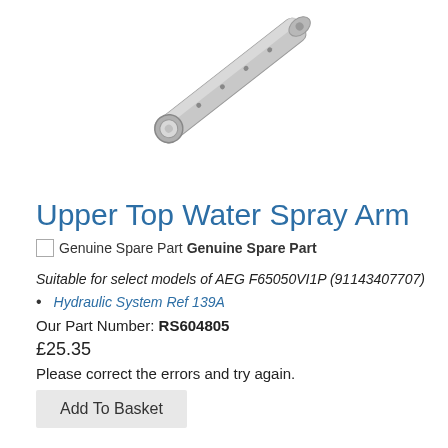[Figure (photo): A silver/metallic dishwasher upper top water spray arm, shown diagonally against a white background, with a circular opening at one end and small holes along its length.]
Upper Top Water Spray Arm
Genuine Spare Part Genuine Spare Part
Suitable for select models of AEG F65050VI1P (91143407707)
Hydraulic System Ref 139A
Our Part Number: RS604805
£25.35
Please correct the errors and try again.
Add To Basket